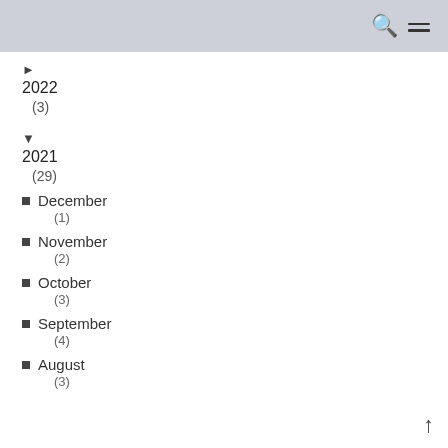► 2022 (3)
▼ 2021 (29)
December (1)
November (2)
October (3)
September (4)
August (3)